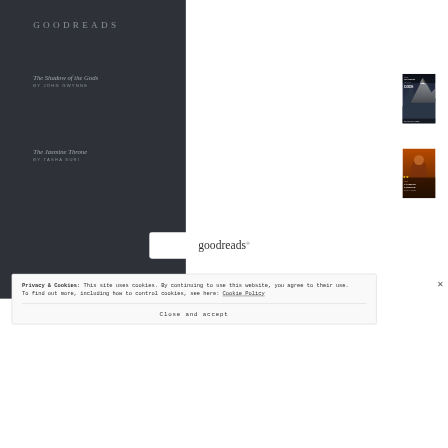GOODREADS
The Shadow of the Gods
BY JOHN GWYNNE
[Figure (illustration): Book cover of 'The Shadow of the Gods' by John Gwynne — dark mountainous fantasy scene]
The Jasmine Throne
BY TASHA SURI
[Figure (illustration): Book cover of 'The Jasmine Throne' by Tasha Suri — dark orange fantasy scene]
[Figure (logo): Goodreads logo in white rounded rectangle box]
Privacy & Cookies: This site uses cookies. By continuing to use this website, you agree to their use.
To find out more, including how to control cookies, see here: Cookie Policy
Close and accept